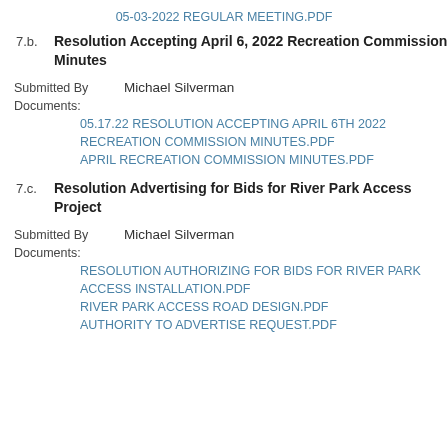05-03-2022 REGULAR MEETING.PDF
7.b.  Resolution Accepting April 6, 2022 Recreation Commission Minutes
Submitted By    Michael Silverman
Documents:
05.17.22 RESOLUTION ACCEPTING APRIL 6TH 2022 RECREATION COMMISSION MINUTES.PDF
APRIL RECREATION COMMISSION MINUTES.PDF
7.c.  Resolution Advertising for Bids for River Park Access Project
Submitted By    Michael Silverman
Documents:
RESOLUTION AUTHORIZING FOR BIDS FOR RIVER PARK ACCESS INSTALLATION.PDF
RIVER PARK ACCESS ROAD DESIGN.PDF
AUTHORITY TO ADVERTISE REQUEST.PDF